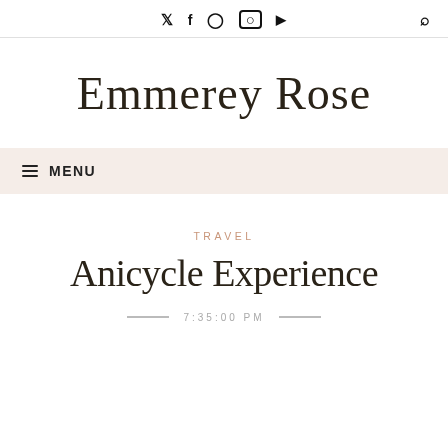Social icons: Twitter, Facebook, Pinterest, Instagram, YouTube | Search
[Figure (logo): Emmerey Rose blog logo in cursive script with a peachy-pink oval highlight behind the text]
≡ MENU
TRAVEL
Anicycle Experience
7:35:00 PM